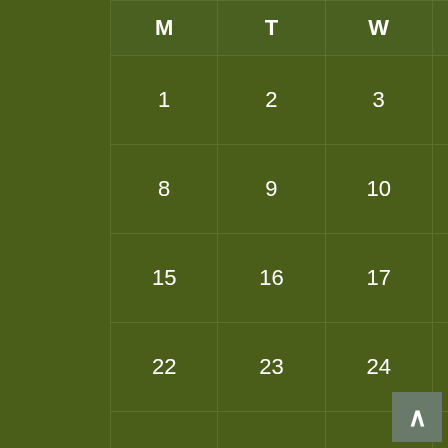| M | T | W | T | F | S | S |
| --- | --- | --- | --- | --- | --- | --- |
| 1 | 2 | 3 | 4 | 5 | 6 | 7 |
| 8 | 9 | 10 | 11 | 12 | 13 | 14 |
| 15 | 16 | 17 | 18 | 19 | 20 | 21 |
| 22 | 23 | 24 | 25 | 26 | 27 | 28 |
| 29 | 30 | 31 |  |  |  |  |
« Jul
Connect with us
Facebook    Google +
Tags
Africa  arts and crafts  Baking  Bangalore  Beach  Beautiful view  Birdlife of Uganda  Cake  ...